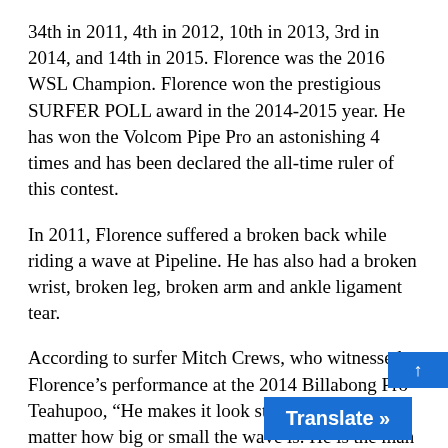34th in 2011, 4th in 2012, 10th in 2013, 3rd in 2014, and 14th in 2015. Florence was the 2016 WSL Champion. Florence won the prestigious SURFER POLL award in the 2014-2015 year. He has won the Volcom Pipe Pro an astonishing 4 times and has been declared the all-time ruler of this contest.
In 2011, Florence suffered a broken back while riding a wave at Pipeline. He has also had a broken wrist, broken leg, broken arm and ankle ligament tear.
According to surfer Mitch Crews, who witnessed Florence's performance at the 2014 Billabong Pro Teahupoo, "He makes it look stupidly easily no matter how big or small the wave is. He is the man out there, rules the line up and makes everyone look silly. He is the man, and most of us are not."
Florence won the Vans World Cup of Surfing in 2011 and 2013. He is the youngest contestant to have won this honor. In October 2014, he won the Quiksilver Pro France. In February 2015, Florence won the 2015 Volcom Pipe Pro which was his fourth win at this event in fi...